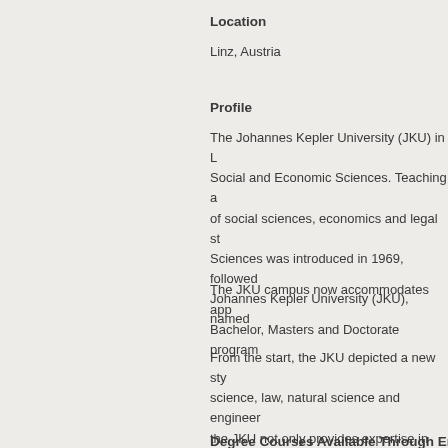Location
Linz, Austria
Profile
The Johannes Kepler University (JKU) in L... Social and Economic Sciences. Teaching ... of social sciences, economics and legal st... Sciences was introduced in 1969, followed... Johannes Kepler University (JKU), named...
The JKU campus now accommodates app... Bachelor, Masters and Doctorate program...
From the start, the JKU depicted a new sty... science, law, natural science and engineer... the JKU not only provides expertise in bas...
Degree Courses Available Through Eng...
Biochemistry
Overview of the Town or City